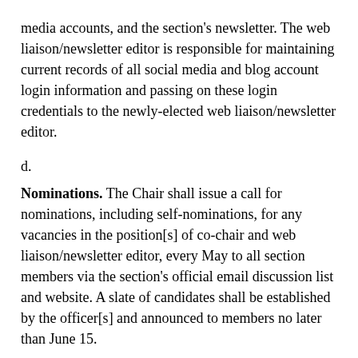media accounts, and the section's newsletter. The web liaison/newsletter editor is responsible for maintaining current records of all social media and blog account login information and passing on these login credentials to the newly-elected web liaison/newsletter editor.
d.
Nominations. The Chair shall issue a call for nominations, including self-nominations, for any vacancies in the position[s] of co-chair and web liaison/newsletter editor, every May to all section members via the section's official email discussion list and website. A slate of candidates shall be established by the officer[s] and announced to members no later than June 15.
e.
Elections. Elections shall be conducted online with the assistance of the SAA staff and in accordance with the